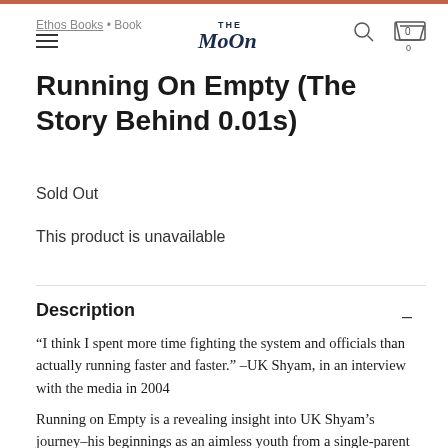Ethos Books • Book
Running On Empty (The Story Behind 0.01s)
Sold Out
This product is unavailable
Description
“I think I spent more time fighting the system and officials than actually running faster and faster.” –UK Shyam, in an interview with the media in 2004
Running on Empty is a revealing insight into UK Shyam’s journey–his beginnings as an aimless youth from a single-parent family to becoming Singapore’s fastest man.